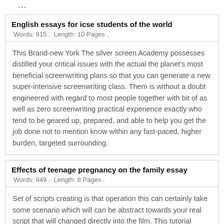English essays for icse students of the world
Words: 915 .  Length: 10 Pages .
This Brand-new York The silver screen Academy possesses distilled your critical issues with the actual the planet's most beneficial screenwriting plans so that you can generate a new super-intensive screenwriting class. Them is without a doubt engineered with regard to most people together with bit of as well as zero screenwriting practical experience exactly who tend to be geared up, prepared, and able to help you get the job done not to mention know within any fast-paced, higher burden, targeted surrounding.
Effects of teenage pregnancy on the family essay
Words: 849 .  Length: 8 Pages .
Set of scripts creating is that operation this can certainly take some scenario which will can be abstract towards your real script that will changed directly into the film. This tutorial